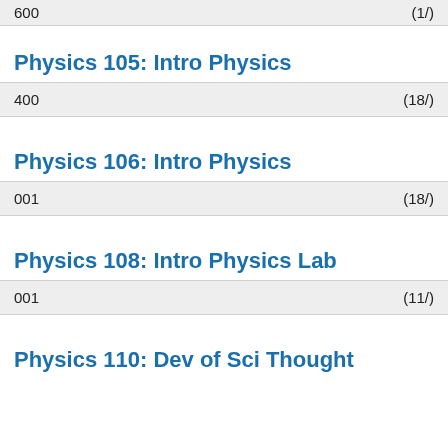| Section | Enrollment |
| --- | --- |
| 600 | (1/) |
Physics 105: Intro Physics
| Section | Enrollment |
| --- | --- |
| 400 | (18/) |
Physics 106: Intro Physics
| Section | Enrollment |
| --- | --- |
| 001 | (18/) |
Physics 108: Intro Physics Lab
| Section | Enrollment |
| --- | --- |
| 001 | (11/) |
Physics 110: Dev of Sci Thought